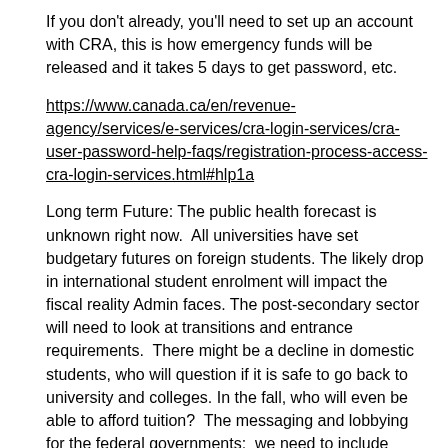If you don't already, you'll need to set up an account with CRA, this is how emergency funds will be released and it takes 5 days to get password, etc.
https://www.canada.ca/en/revenue-agency/services/e-services/cra-login-services/cra-user-password-help-faqs/registration-process-access-cra-login-services.html#hlp1a
Long term Future: The public health forecast is unknown right now.  All universities have set budgetary futures on foreign students. The likely drop in international student enrolment will impact the fiscal reality Admin faces. The post-secondary sector will need to look at transitions and entrance requirements.  There might be a decline in domestic students, who will question if it is safe to go back to university and colleges. In the fall, who will even be able to afford tuition?  The messaging and lobbying for the federal governments:  we need to include funding to support post-secondary institutions. Stimulus packages should include bridge funding for institutions, potentially initiatives to increase student enrolment, eg; direct subsidies, grants. Large swaths of unemployed Canadians could be supported to access educational pathways to rebuild our society.
As always, please keep in touch, but especially now. We need to